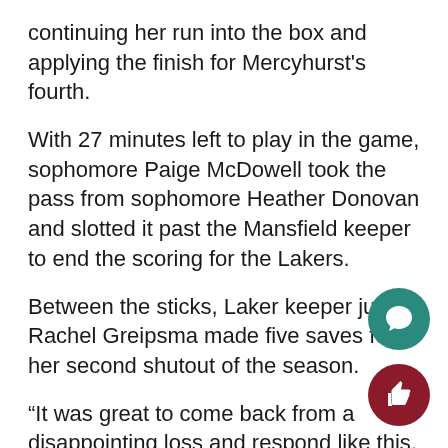continuing her run into the box and applying the finish for Mercyhurst’s fourth.
With 27 minutes left to play in the game, sophomore Paige McDowell took the pass from sophomore Heather Donovan and slotted it past the Mansfield keeper to end the scoring for the Lakers.
Between the sticks, Laker keeper junior Rachel Greipsma made five saves for her second shutout of the season.
“It was great to come back from a disappointing loss and respond like this. We created a lot of chances and we’re happy to have put five away like that. Hopefully we can take this momentum into next week’s game,” said sophomore midfielder Molly Marsh.
The 8-4-1 Lakers are in action again on Wednesday,